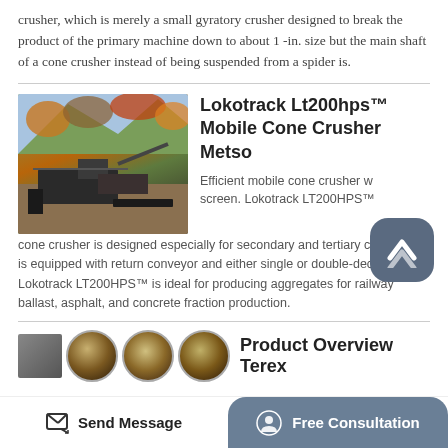crusher, which is merely a small gyratory crusher designed to break the product of the primary machine down to about 1 -in. size but the main shaft of a cone crusher instead of being suspended from a spider is.
[Figure (photo): Photo of a Lokotrack LT200HPS mobile cone crusher in an outdoor quarry setting with a forested hillside in the background.]
Lokotrack Lt200hps™ Mobile Cone Crusher Metso
Efficient mobile cone crusher with screen. Lokotrack LT200HPS™ cone crusher is designed especially for secondary and tertiary crushing. It is equipped with return conveyor and either single or double-deck screen. Lokotrack LT200HPS™ is ideal for producing aggregates for railway ballast, asphalt, and concrete fraction production.
[Figure (photo): Small thumbnail images showing crusher parts or machinery components.]
Product Overview Terex
Send Message
Free Consultation